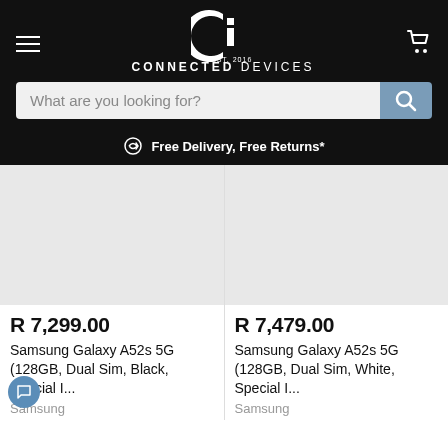CONNECTED DEVICES — EST. 2016
What are you looking for?
Free Delivery, Free Returns*
[Figure (other): Product image placeholder (light grey rectangle) for Samsung Galaxy A52s 5G Black]
R 7,299.00
Samsung Galaxy A52s 5G (128GB, Dual Sim, Black, Special I...
Samsung
[Figure (other): Product image placeholder (light grey rectangle) for Samsung Galaxy A52s 5G White]
R 7,479.00
Samsung Galaxy A52s 5G (128GB, Dual Sim, White, Special I...
Samsung